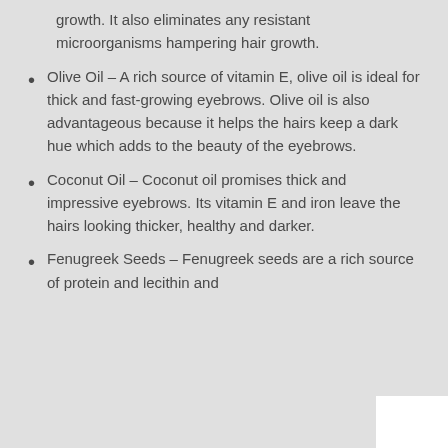growth. It also eliminates any resistant microorganisms hampering hair growth.
Olive Oil – A rich source of vitamin E, olive oil is ideal for thick and fast-growing eyebrows. Olive oil is also advantageous because it helps the hairs keep a dark hue which adds to the beauty of the eyebrows.
Coconut Oil – Coconut oil promises thick and impressive eyebrows. Its vitamin E and iron leave the hairs looking thicker, healthy and darker.
Fenugreek Seeds – Fenugreek seeds are a rich source of protein and lecithin and